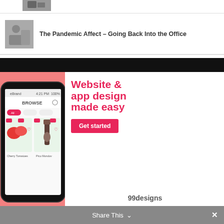[Figure (photo): Thumbnail image of person at top (partially visible, black and white)]
[Figure (photo): Black and white thumbnail photo of people in office setting]
The Pandemic Affect – Going Back Into the Office
[Figure (infographic): 99designs advertisement banner. Black top bar, pink left panel with phone app mockup showing grocery shopping app (BROWSE, Cherry Tomatoes, Pico Mondov). White right panel with text: 'Website & app design made easy' and 'Get started' button and '99designs' logo.]
Share This ∨  ✕